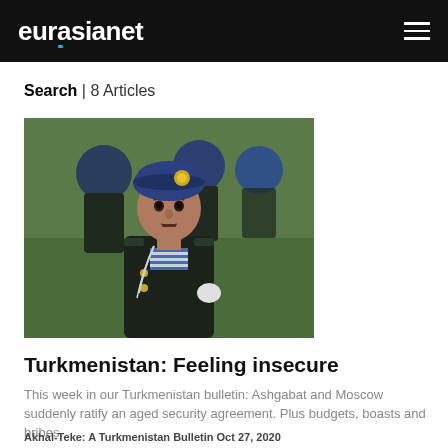eurasianet
Search | 8 Articles
[Figure (photo): Row of soldiers in blue berets and military uniforms marching in formation, one face clearly visible in the foreground]
Turkmenistan: Feeling insecure
This week in our Turkmenistan bulletin: Ashgabat and Moscow suddenly ratify an aged security agreement. Plus budgets, boasts and bribes.
Akhal-Teke: A Turkmenistan Bulletin Oct 27, 2020